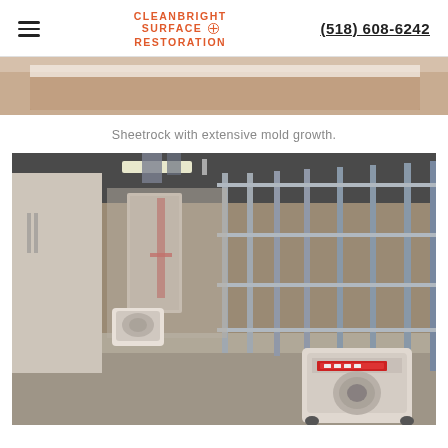CLEANBRIGHT SURFACE RESTORATION | (518) 608-6242
[Figure (photo): Top portion of a photo showing sheetrock with mold growth, partially cropped at top of page]
Sheetrock with extensive mold growth.
[Figure (photo): Interior of a building under mold remediation — metal wall studs visible with sheetrock removed, HEPA air scrubber unit on floor in foreground, another air mover in background, concrete floor, fluorescent lighting overhead]